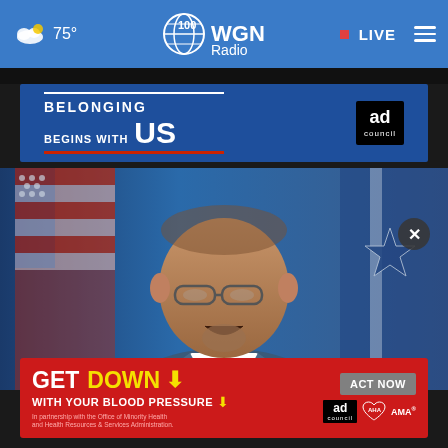75° WGN Radio 100 • LIVE
[Figure (screenshot): WGN Radio website screenshot showing a blue header navigation bar with weather (75°), WGN Radio 100 logo, LIVE indicator and hamburger menu]
[Figure (photo): A man in a blue suit speaking at a podium with an American flag and a blue/white star flag in background]
[Figure (infographic): Ad banner: BELONGING BEGINS WITH US, Ad Council logo on blue background]
[Figure (infographic): Red ad banner: GET DOWN WITH YOUR BLOOD PRESSURE, with Act Now button, Ad Council, American Heart Association, and AMA logos]